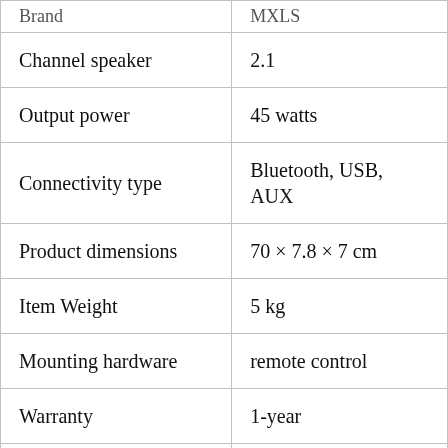| Brand | MXLS |
| --- | --- |
| Channel speaker | 2.1 |
| Output power | 45 watts |
| Connectivity type | Bluetooth, USB, AUX |
| Product dimensions | 70 × 7.8 × 7 cm |
| Item Weight | 5 kg |
| Mounting hardware | remote control |
| Warranty | 1-year |
| Tuner | FM radio |